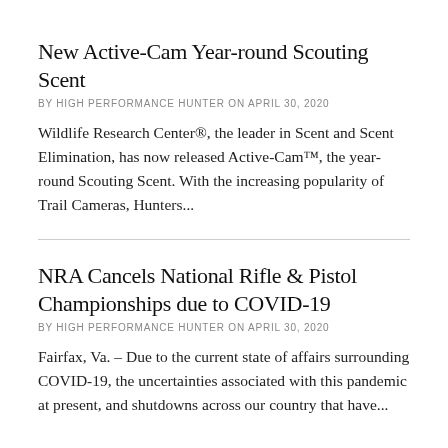New Active-Cam Year-round Scouting Scent
BY HIGH PERFORMANCE HUNTER ON APRIL 30, 2020
Wildlife Research Center®, the leader in Scent and Scent Elimination, has now released Active-Cam™, the year-round Scouting Scent. With the increasing popularity of Trail Cameras, Hunters...
NRA Cancels National Rifle & Pistol Championships due to COVID-19
BY HIGH PERFORMANCE HUNTER ON APRIL 30, 2020
Fairfax, Va. – Due to the current state of affairs surrounding COVID-19, the uncertainties associated with this pandemic at present, and shutdowns across our country that have...